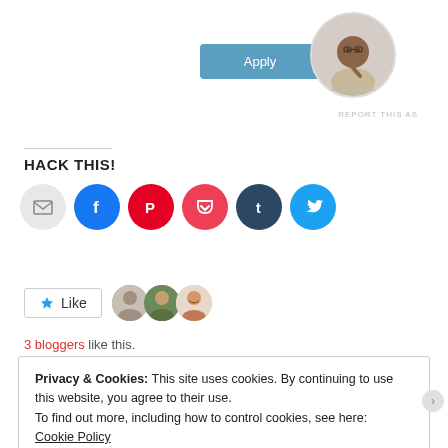[Figure (other): Apply button (teal/blue rounded rectangle)]
[Figure (photo): Circular profile photo of a man thinking at a desk]
REPORT THIS AS
HACK THIS!
[Figure (infographic): Row of social share icon buttons: email (gray), Facebook (blue), Pinterest (red), Pocket (pink-red), Tumblr (dark navy), Twitter (cyan)]
[Figure (other): Like button with star icon and three blogger avatar thumbnails]
3 bloggers like this.
Privacy & Cookies: This site uses cookies. By continuing to use this website, you agree to their use.
To find out more, including how to control cookies, see here:
Cookie Policy
Close and accept